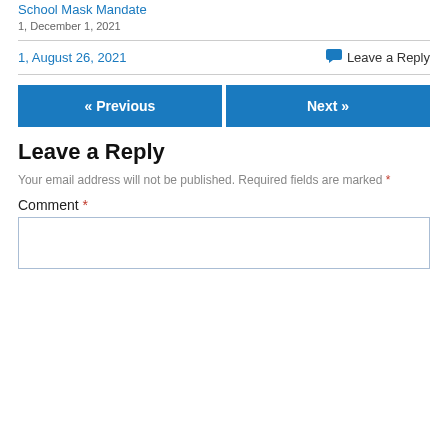School Mask Mandate
1, December 1, 2021
1, August 26, 2021
Leave a Reply
« Previous
Next »
Leave a Reply
Your email address will not be published. Required fields are marked *
Comment *